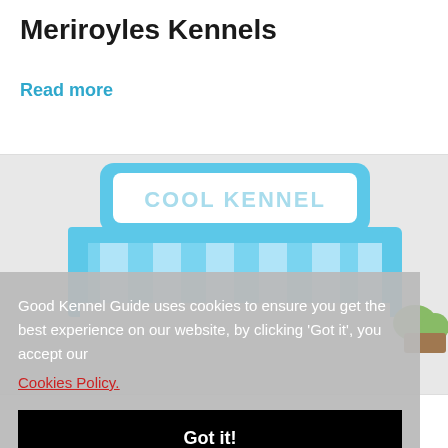Meriroyles Kennels
Read more
[Figure (illustration): Illustration of a cartoon kennel/pet store storefront labeled 'COOL KENNEL' with a blue awning with stripes, and a green bush and brown base at the bottom right.]
Good Kennel Guide uses cookies to ensure you get the best experience on our website, by clicking ‘Got it’, you accept our
Cookies Policy.
Got it!
Shaftesbury Kennels and